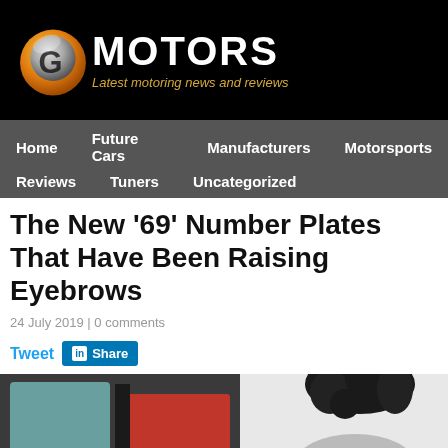[Figure (logo): G Motors logo with black background, stylized G icon in orange/silver, white MOTORS text, gold italic tagline 'Latest motoring news and reviews']
Home | Future Cars | Manufacturers | Motorsports | Reviews | Tuners | Uncategorized
The New ‘69’ Number Plates That Have Been Raising Eyebrows
24 July 2019 | 0 comments
Tweet Share
[Figure (photo): Partial photo of car interior with red seat visible on left, and a person with dark curly hair on the right, against a light background]